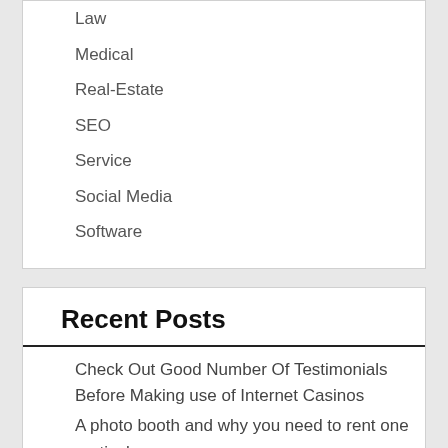Law
Medical
Real-Estate
SEO
Service
Social Media
Software
Recent Posts
Check Out Good Number Of Testimonials Before Making use of Internet Casinos
A photo booth and why you need to rent one particular
Hire An Automatic Van For Your Small Business!
Merit Internet casino: The Reason Why You Shouldn't Be Playing On the web Internet casino
Chiropractic marketing and what does a chiropractor do